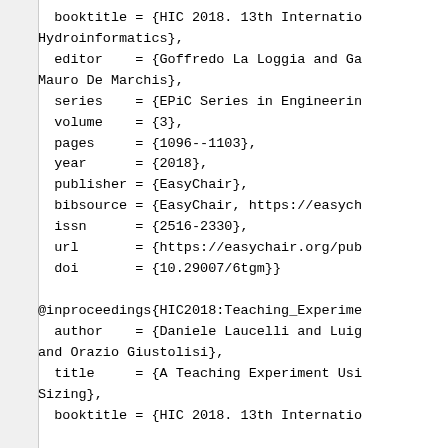booktitle = {HIC 2018. 13th Internatio
Hydroinformatics},
  editor    = {Goffredo La Loggia and Ga
Mauro De Marchis},
  series    = {EPiC Series in Engineerin
  volume    = {3},
  pages     = {1096--1103},
  year      = {2018},
  publisher = {EasyChair},
  bibsource = {EasyChair, https://easych
  issn      = {2516-2330},
  url       = {https://easychair.org/pub
  doi       = {10.29007/6tgm}}

@inproceedings{HIC2018:Teaching_Experime
  author    = {Daniele Laucelli and Luig
and Orazio Giustolisi},
  title     = {A Teaching Experiment Usi
Sizing},
  booktitle = {HIC 2018. 13th Internatio